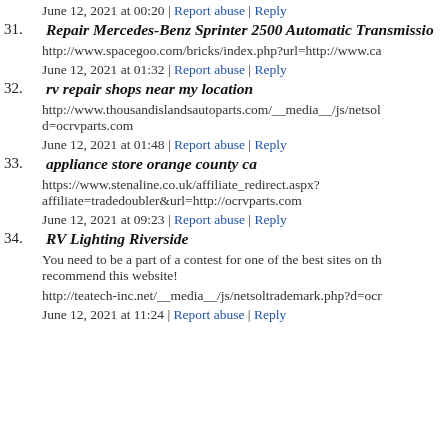June 12, 2021 at 00:20 | Report abuse | Reply
31. Repair Mercedes-Benz Sprinter 2500 Automatic Transmission
http://www.spacegoo.com/bricks/index.php?url=http://www.ca
June 12, 2021 at 01:32 | Report abuse | Reply
32. rv repair shops near my location
http://www.thousandislandsautoparts.com/__media__/js/netsol d=ocrvparts.com
June 12, 2021 at 01:48 | Report abuse | Reply
33. appliance store orange county ca
https://www.stenaline.co.uk/affiliate_redirect.aspx?affiliate=tradedoubler&url=http://ocrvparts.com
June 12, 2021 at 09:23 | Report abuse | Reply
34. RV Lighting Riverside
You need to be a part of a contest for one of the best sites on th recommend this website!
http://teatech-inc.net/__media__/js/netsoltrademark.php?d=ocr
June 12, 2021 at 11:24 | Report abuse | Reply